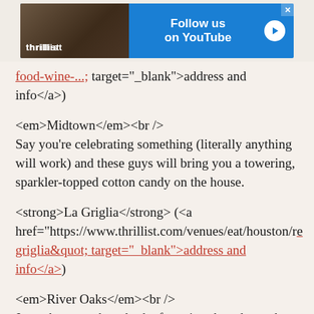[Figure (screenshot): Thrillist advertisement banner: photo of person on left, blue background with 'Follow us on YouTube' text and play button on right, close X button top right corner]
food-wine-...; target="_blank">address and info</a>)
<em>Midtown</em><br />
Say you're celebrating something (literally anything will work) and these guys will bring you a towering, sparkler-topped cotton candy on the house.
<strong>La Griglia</strong> (<a href="https://www.thrillist.com/venues/eat/houston/re griglia&quot; target="_blank">address and info</a>)
<em>River Oaks</em><br />
Just when you thought the free pizza bread was the only trick up its sleeve, this fan favorite brings you a